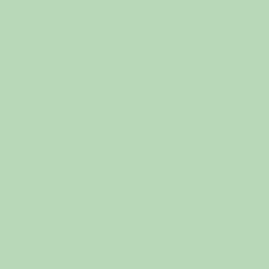[Figure (screenshot): Web page showing a book listing interface with a green background on the left and book covers with titles on the right. Books visible include: a partially cropped book cover at top, 'A Second Survey of Domestic Electronic Digital Computing Systems', 'Analog Synthesizers: understanding, performing, buying - From the Legacy of Moog to Software Synthesis by Mark Jenkins, second edition', and a partially visible fourth book cover by Frank O'Brien.]
A Pers...
A Seco... Compu...
Analog... to Soft...